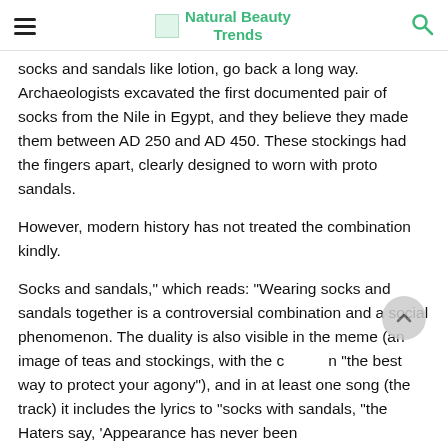Natural Beauty Trends
socks and sandals like lotion, go back a long way. Archaeologists excavated the first documented pair of socks from the Nile in Egypt, and they believe they made them between AD 250 and AD 450. These stockings had the fingers apart, clearly designed to worn with proto sandals.
However, modern history has not treated the combination kindly.
Socks and sandals," which reads: "Wearing socks and sandals together is a controversial combination and a social phenomenon. The duality is also visible in the meme (an image of teas and stockings, with the c n "the best way to protect your agony"), and in at least one song (the track) it includes the lyrics to "socks with sandals, "the Haters say, 'Appearance has never been